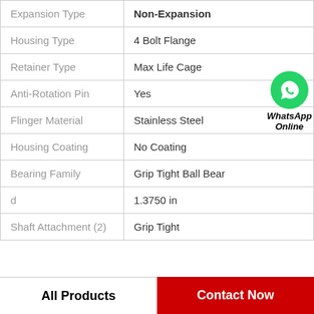| Property | Value |
| --- | --- |
| Expansion Type | Non-Expansion |
| Housing Type | 4 Bolt Flange |
| Retainer Type | Max Life Cage |
| Anti-Rotation Pin | Yes |
| Flinger Material | Stainless Steel |
| Housing Coating | No Coating |
| Bearing Family | Grip Tight Ball Bear |
| d | 1.3750 in |
| Shaft Attachment (2) | Grip Tight |
All Products
Contact Now